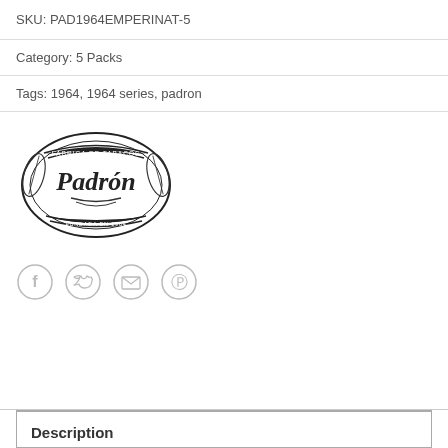SKU: PAD1964EMPERINAT-5
Category: 5 Packs
Tags: 1964, 1964 series, padron
[Figure (logo): Padron cigar brand logo — oval shape with 'FABRICA DE TABACOS' at top, 'Padron' in script in center, decorative tobacco leaves on sides, 'FUNDADA EN 1964' at bottom]
[Figure (infographic): Social media share icons: Facebook (f), Twitter (bird), Email (envelope), Pinterest (p) — circular outlined buttons]
Description